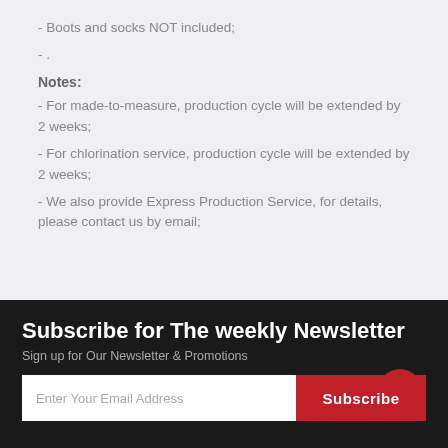- Boots and socks NOT included;
- .
Notes:
- For made-to-measure, production cycle will be extended by 2 weeks;
- For chlorination service, production cycle will be extended by 2 weeks;
- We also provide Express Production Service, for details, please contact us by email;
Subscribe for The weekly Newsletter
Sign up for Our Newsletter & Promotions